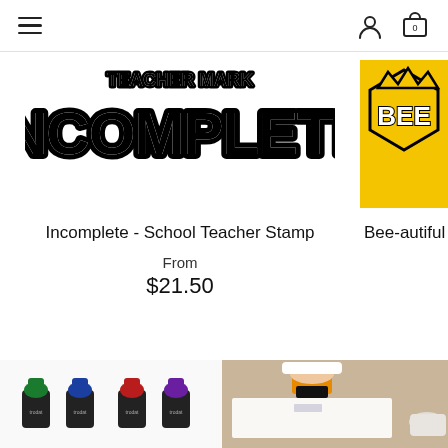Navigation bar with hamburger menu, user icon, and cart icon (0 items)
[Figure (illustration): Incomplete - School Teacher Stamp product image showing bold black and white 'INCOMPLETE' text stamp graphic]
Incomplete - School Teacher Stamp
From
$21.50
[Figure (illustration): Bee-autiful product image partially visible, showing yellow and black bee themed stamp graphic]
Bee-autiful - S
[Figure (photo): Photo showing multiple Trodat stamp ink refill bottles in green, blue, red, and purple colors with black bases]
[Figure (photo): Photo showing a person's hand using an orange and black self-inking stamp on white paper on a wooden desk]